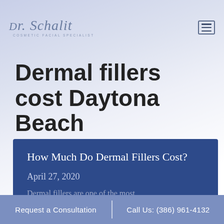[Figure (logo): Dr. Schalit Cosmetic Facial Specialist logo in script font]
Dermal fillers cost Daytona Beach
How Much Do Dermal Fillers Cost?
April 27, 2020
Request a Consultation | Call Us: (386) 961-4132